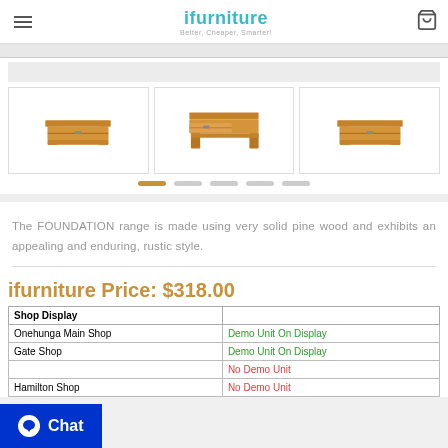ifurniture - Better, Cheaper, Smarter!
[Figure (photo): Three thumbnail images of a wooden bedside table (FOUNDATION range) - closed drawer view, open drawer view, and angled view]
The FOUNDATION range is made using very solid pine wood and exhibits an appealing and enduring, rustic style.
ifurniture Price: $318.00
| Shop Display |  |
| --- | --- |
| Onehunga Main Shop | Demo Unit On Display |
| Gate Shop | Demo Unit On Display |
| p | No Demo Unit |
| Hamilton Shop | No Demo Unit |